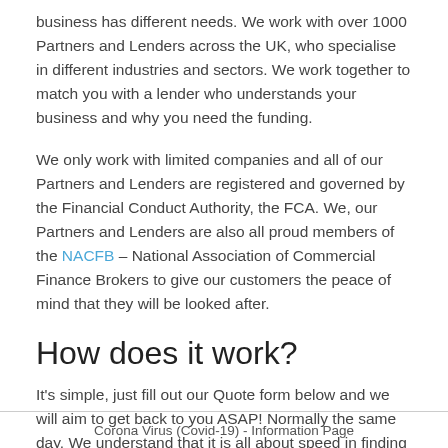business has different needs. We work with over 1000 Partners and Lenders across the UK, who specialise in different industries and sectors. We work together to match you with a lender who understands your business and why you need the funding.
We only work with limited companies and all of our Partners and Lenders are registered and governed by the Financial Conduct Authority, the FCA. We, our Partners and Lenders are also all proud members of the NACFB – National Association of Commercial Finance Brokers to give our customers the peace of mind that they will be looked after.
How does it work?
It's simple, just fill out our Quote form below and we will aim to get back to you ASAP! Normally the same day. We understand that it is all about speed in finding funding for your
Corona Virus (Covid-19) - Information Page